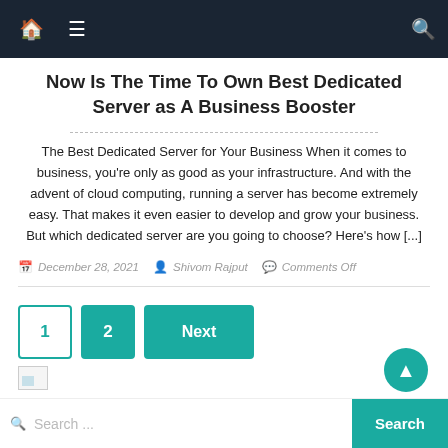Navigation bar with home icon, menu icon, and search icon
Now Is The Time To Own Best Dedicated Server as A Business Booster
The Best Dedicated Server for Your Business When it comes to business, you're only as good as your infrastructure. And with the advent of cloud computing, running a server has become extremely easy. That makes it even easier to develop and grow your business. But which dedicated server are you going to choose? Here's how [...]
December 28, 2021   Shivom Rajput   Comments Off
1  2  Next
Search ...